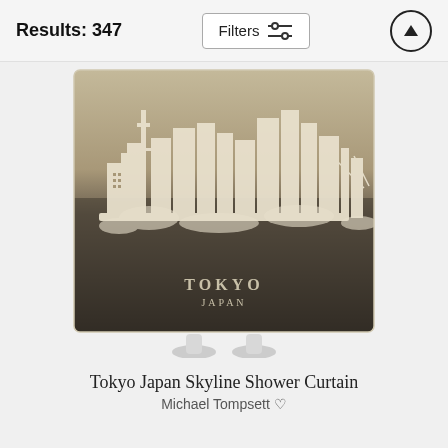Results: 347
Filters
[Figure (photo): Tokyo Japan Skyline Shower Curtain product photo — a square shower curtain displaying a sepia-toned Tokyo skyline silhouette on a dark textured background with 'TOKYO JAPAN' text, shown on a white curtain stand/holder.]
Tokyo Japan Skyline Shower Curtain
Michael Tompsett ♡